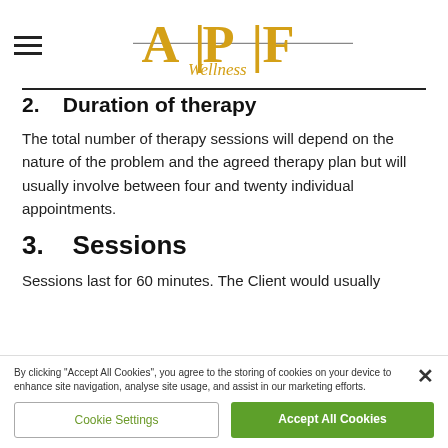APF Wellness (logo)
2.    Duration of therapy
The total number of therapy sessions will depend on the nature of the problem and the agreed therapy plan but will usually involve between four and twenty individual appointments.
3.    Sessions
Sessions last for 60 minutes. The Client would usually
By clicking "Accept All Cookies", you agree to the storing of cookies on your device to enhance site navigation, analyse site usage, and assist in our marketing efforts.
Cookie Settings
Accept All Cookies